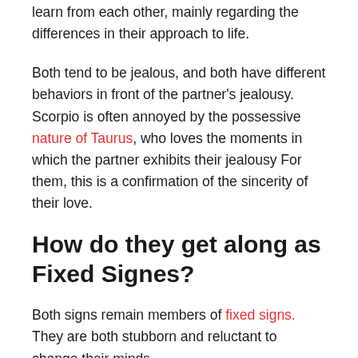by certain behaviors of others. They have a lot to learn from each other, mainly regarding the differences in their approach to life.
Both tend to be jealous, and both have different behaviors in front of the partner's jealousy. Scorpio is often annoyed by the possessive nature of Taurus, who loves the moments in which the partner exhibits their jealousy For them, this is a confirmation of the sincerity of their love.
How do they get along as Fixed Signes?
Both signs remain members of fixed signs. They are both stubborn and reluctant to change their minds.